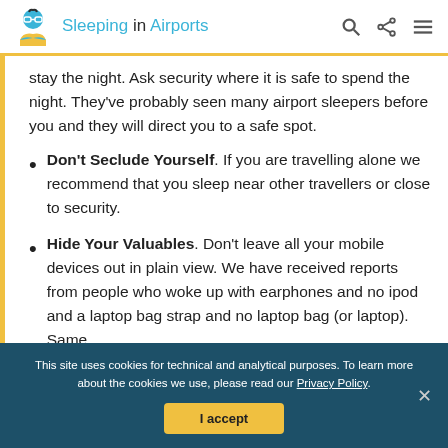Sleeping in Airports
stay the night. Ask security where it is safe to spend the night. They've probably seen many airport sleepers before you and they will direct you to a safe spot.
Don't Seclude Yourself. If you are travelling alone we recommend that you sleep near other travellers or close to security.
Hide Your Valuables. Don't leave all your mobile devices out in plain view. We have received reports from people who woke up with earphones and no ipod and a laptop bag strap and no laptop bag (or laptop). Same
This site uses cookies for technical and analytical purposes. To learn more about the cookies we use, please read our Privacy Policy.